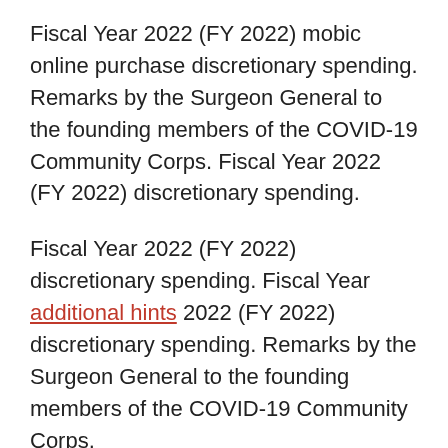Fiscal Year 2022 (FY 2022) mobic online purchase discretionary spending. Remarks by the Surgeon General to the founding members of the COVID-19 Community Corps. Fiscal Year 2022 (FY 2022) discretionary spending.
Fiscal Year 2022 (FY 2022) discretionary spending. Fiscal Year additional hints 2022 (FY 2022) discretionary spending. Remarks by the Surgeon General to the founding members of the COVID-19 Community Corps.
Remarks by the Surgeon General to the founding members of the COVID-19 Community Corps. Remarks by the Surgeon General to the founding members of the mobic online purchase COVID-19